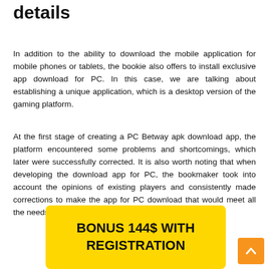details
In addition to the ability to download the mobile application for mobile phones or tablets, the bookie also offers to install exclusive app download for PC. In this case, we are talking about establishing a unique application, which is a desktop version of the gaming platform.
At the first stage of creating a PC Betway apk download app, the platform encountered some problems and shortcomings, which later were successfully corrected. It is also worth noting that when developing the download app for PC, the bookmaker took into account the opinions of existing players and consistently made corrections to make the app for PC download that would meet all the needs of customers.
[Figure (infographic): Yellow banner with bold text 'BONUS 144$ WITH REGISTRATION' and an orange arrow-up button in the bottom right corner.]